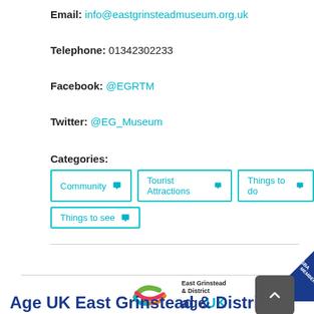Email: info@eastgrinsteadmuseum.org.uk
Telephone: 01342302233
Facebook: @EGRTM
Twitter: @EG_Museum
Categories:
Community
Tourist Attractions
Things to do
Things to see
[Figure (logo): Age UK East Grinstead & District logo with EGBA Member badge]
Age UK East Grinstead & District